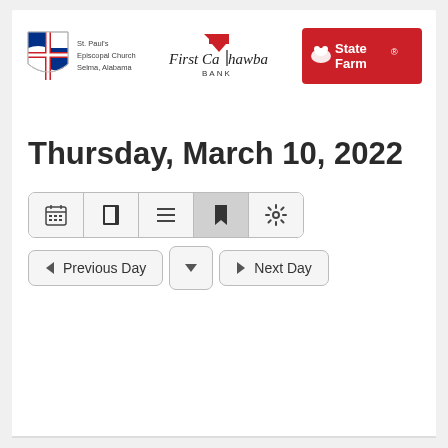[Figure (logo): St. Paul's Episcopal Church Selma, Alabama shield logo with cross design]
[Figure (logo): First Cahawba Bank logo with red arrow graphic]
[Figure (logo): State Farm logo on red background with white text and symbol]
Thursday, March 10, 2022
[Figure (infographic): Navigation icon bar with calendar, book, list, bookmark (active), and settings icons]
[Figure (infographic): Day navigation buttons: Previous Day, dropdown arrow, Next Day]